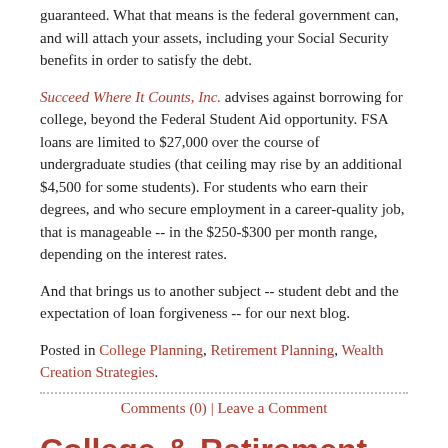guaranteed. What that means is the federal government can, and will attach your assets, including your Social Security benefits in order to satisfy the debt.
Succeed Where It Counts, Inc. advises against borrowing for college, beyond the Federal Student Aid opportunity. FSA loans are limited to $27,000 over the course of undergraduate studies (that ceiling may rise by an additional $4,500 for some students). For students who earn their degrees, and who secure employment in a career-quality job, that is manageable -- in the $250-$300 per month range, depending on the interest rates.
And that brings us to another subject -- student debt and the expectation of loan forgiveness -- for our next blog.
Posted in College Planning, Retirement Planning, Wealth Creation Strategies.
Comments (0) | Leave a Comment
College-&-Retirement -- #3 of 4
February 24, 2015